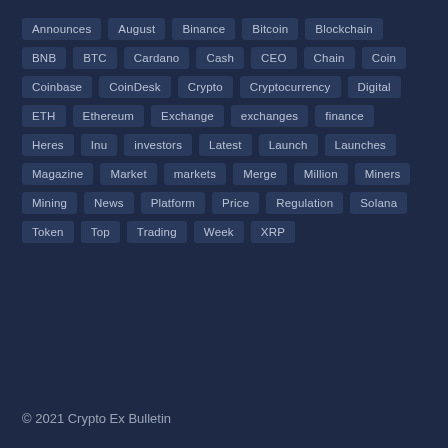Announces, August, Binance, Bitcoin, Blockchain, BNB, BTC, Cardano, Cash, CEO, Chain, Coin, Coinbase, CoinDesk, Crypto, Cryptocurrency, Digital, ETH, Ethereum, Exchange, exchanges, finance, Heres, Inu, investors, Latest, Launch, Launches, Magazine, Market, markets, Merge, Million, Miners, Mining, News, Platform, Price, Regulation, Solana, Token, Top, Trading, Week, XRP
© 2021 Crypto Ex Bulletin